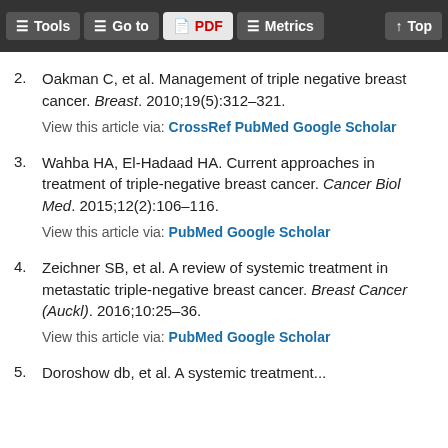Tools | Go to | PDF | Metrics | Top
2. Oakman C, et al. Management of triple negative breast cancer. Breast. 2010;19(5):312–321.
View this article via: CrossRef PubMed Google Scholar
3. Wahba HA, El-Hadaad HA. Current approaches in treatment of triple-negative breast cancer. Cancer Biol Med. 2015;12(2):106–116.
View this article via: PubMed Google Scholar
4. Zeichner SB, et al. A review of systemic treatment in metastatic triple-negative breast cancer. Breast Cancer (Auckl). 2016;10:25–36.
View this article via: PubMed Google Scholar
5. [partial, cut off]